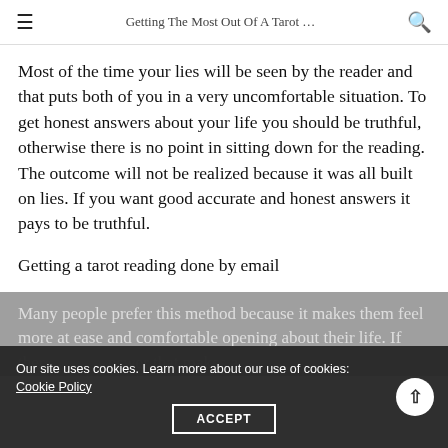Getting The Most Out Of A Tarot …
Most of the time your lies will be seen by the reader and that puts both of you in a very uncomfortable situation. To get honest answers about your life you should be truthful, otherwise there is no point in sitting down for the reading. The outcome will not be realized because it was all built on lies. If you want good accurate and honest answers it pays to be truthful.
Getting a tarot reading done by email
Many people prefer this method because it makes them feel more at ease and comfortable opening about their life. If ther answer that makes a
Our site uses cookies. Learn more about our use of cookies: Cookie Policy